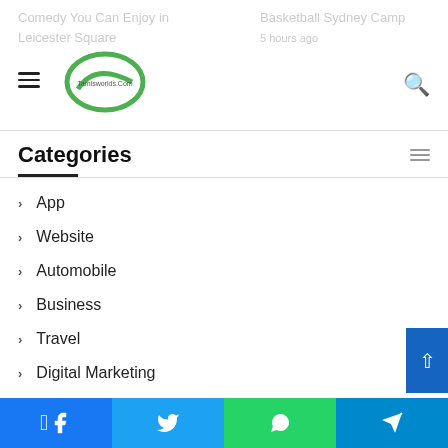Tamisworlds.Com
Categories
App
Website
Automobile
Business
Travel
Digital Marketing
Education
Entertainment
Fashion
Facebook | Twitter | WhatsApp | Telegram